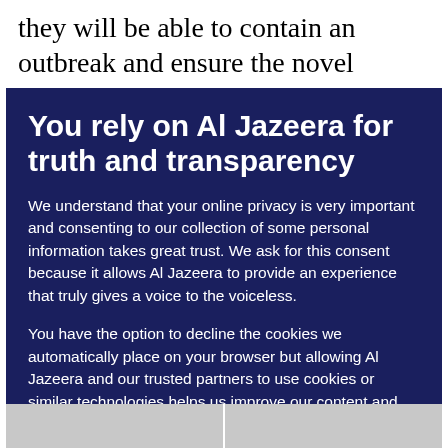they will be able to contain an outbreak and ensure the novel coronavirus does not overwhelm health
You rely on Al Jazeera for truth and transparency
We understand that your online privacy is very important and consenting to our collection of some personal information takes great trust. We ask for this consent because it allows Al Jazeera to provide an experience that truly gives a voice to the voiceless.
You have the option to decline the cookies we automatically place on your browser but allowing Al Jazeera and our trusted partners to use cookies or similar technologies helps us improve our content and offerings to you. You can change your privacy preferences at any time by selecting 'Cookie preferences' at the bottom of your screen. To learn more, please view our Cookie Policy.